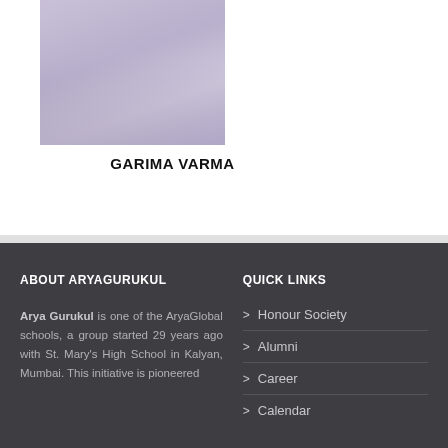[Figure (photo): Portrait photo of a person wearing a school uniform with a lanyard/ID badge]
GARIMA VARMA
ABOUT ARYAGURUKUL
Arya Gurukul is one of the AryaGlobal schools, a group started 29 years ago with St. Mary's High School in Kalyan, Mumbai. This initiative is pioneered
QUICK LINKS
Honour Society
Alumni
Career
Calendar